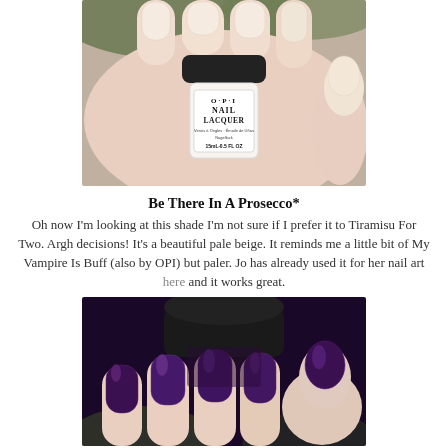[Figure (photo): Close-up photo of a hand holding an OPI Nail Lacquer bottle in a pale beige/nude shade called 'Be There In A Prosecco'. The nails are painted the same nude beige color. The bottle label reads: O·P·I NAIL LACQUER, Vernis à Ongles · Émaile de Uñas · Nagellack, 15mL·0.5 FL OZ.]
Be There In A Prosecco*
Oh now I'm looking at this shade I'm not sure if I prefer it to Tiramisu For Two. Argh decisions! It's a beautiful pale beige. It reminds me a little bit of My Vampire Is Buff (also by OPI) but paler. Jo has already used it for her nail art here and it works great.
[Figure (photo): Close-up photo of a hand holding an OPI Nail Lacquer bottle in a deep purple/dark grape shade. The nails are painted the same dark purple color with a glossy finish. The bottle cap is black.]